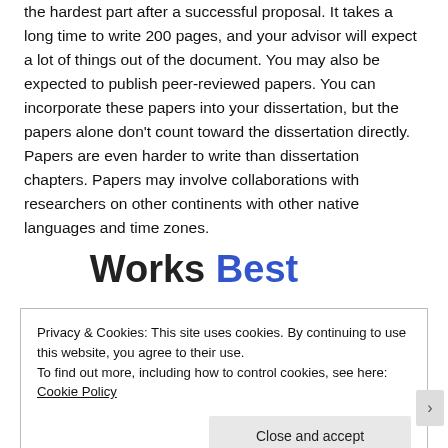the hardest part after a successful proposal. It takes a long time to write 200 pages, and your advisor will expect a lot of things out of the document. You may also be expected to publish peer-reviewed papers. You can incorporate these papers into your dissertation, but the papers alone don't count toward the dissertation directly. Papers are even harder to write than dissertation chapters. Papers may involve collaborations with researchers on other continents with other native languages and time zones.
Works Best
Privacy & Cookies: This site uses cookies. By continuing to use this website, you agree to their use. To find out more, including how to control cookies, see here: Cookie Policy